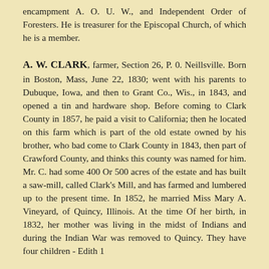encampment A. O. U. W., and Independent Order of Foresters. He is treasurer for the Episcopal Church, of which he is a member.
A. W. CLARK, farmer, Section 26, P. 0. Neillsville. Born in Boston, Mass, June 22, 1830; went with his parents to Dubuque, Iowa, and then to Grant Co., Wis., in 1843, and opened a tin and hardware shop. Before coming to Clark County in 1857, he paid a visit to California; then he located on this farm which is part of the old estate owned by his brother, who bad come to Clark County in 1843, then part of Crawford County, and thinks this county was named for him. Mr. C. had some 400 Or 500 acres of the estate and has built a saw-mill, called Clark's Mill, and has farmed and lumbered up to the present time. In 1852, he married Miss Mary A. Vineyard, of Quincy, Illinois. At the time Of her birth, in 1832, her mother was living in the midst of Indians and during the Indian War was removed to Quincy. They have four children - Edith 1